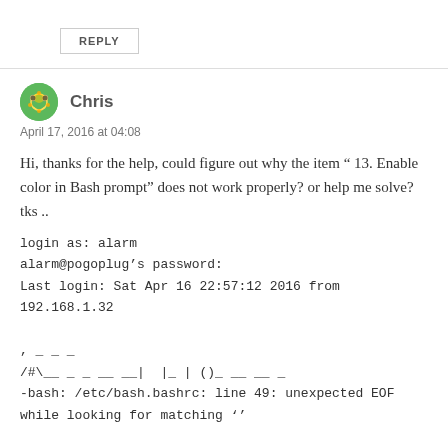REPLY
Chris
April 17, 2016 at 04:08
Hi, thanks for the help, could figure out why the item “ 13. Enable color in Bash prompt” does not work properly? or help me solve? tks ..
login as: alarm
alarm@pogoplug’s password:
Last login: Sat Apr 16 22:57:12 2016 from 192.168.1.32

, _ _ _
/#\__ _ _ __ __| | |_ | ()_ __ __ _
-bash: /etc/bash.bashrc: line 49: unexpected EOF while looking for matching ‘’